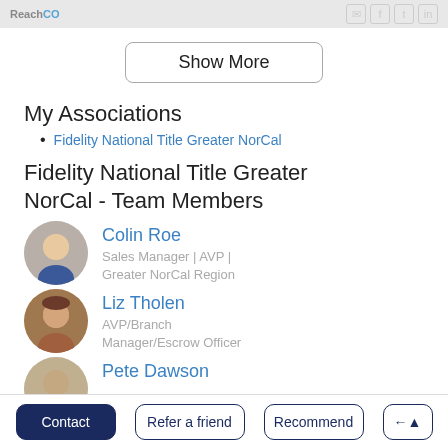ReachCO | icons: email, facebook, twitter, linkedin
Show More
My Associations
Fidelity National Title Greater NorCal
Fidelity National Title Greater NorCal - Team Members
Colin Roe
Sales Manager | AVP | Greater NorCal Region
Liz Tholen
AVP/Branch Manager/Escrow Officer
Pete Dawson
Contact | Refer a friend | Recommend | Share